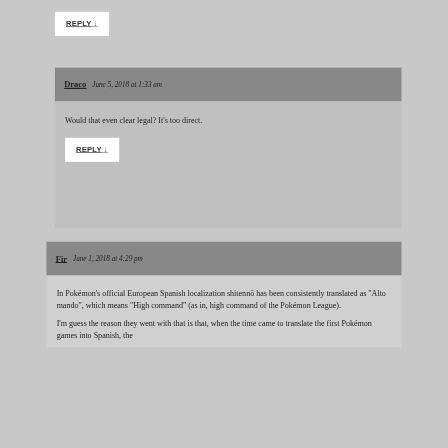REPLY ↓
Draco  June 5, 2018 at 1:33 am
Would that even clear legal? It's too direct.
REPLY ↓
Fir  June 1, 2018 at 4:29 pm
In Pokémon's official European Spanish localization shitennō has been consistently translated as "Alto mando", which means "High command" (as in, high command of the Pokémon League).
I'm guess the reason they went with that is that, when the time came to translate the first Pokémon games into Spanish, the